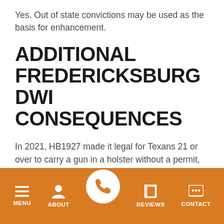Yes. Out of state convictions may be used as the basis for enhancement.
ADDITIONAL FREDERICKSBURG DWI CONSEQUENCES
In 2021, HB1927 made it legal for Texans 21 or over to carry a gun in a holster without a permit, both openly and concealed. DWI charges can negatively impact this and other 2nd Amendment rights. Learn more.
MENU | ABOUT | [phone] | REVIEWS | CONTACT